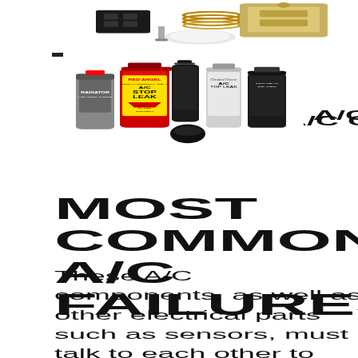[Figure (photo): Photograph of A/C mechanical components including valves, sensors, and fittings against a white background, partially visible at top of page]
A/C Chemicals
[Figure (photo): Collection of A/C chemical products including Red Angel A/C Stop Leak, radiator chemicals, A/C top leak spray cans and other automotive A/C chemical products]
MOST COMMON A/C FAILURES
These A/C components, as well as other electrical parts such as sensors, must talk to each other to perform its function and minimize the risk of damage and pollution to the entire A/C system. Refrigerant